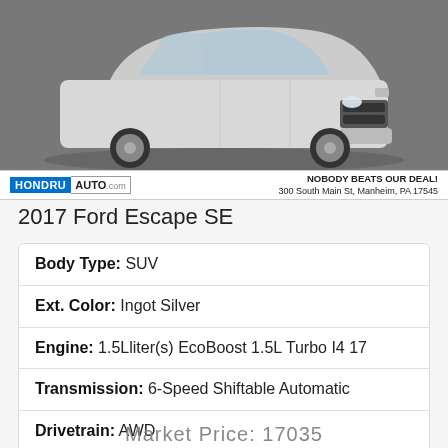[Figure (photo): Front view of a white/silver 2017 Ford Escape SE SUV on a gray background]
HONDRU AUTO.com | NOBODY BEATS OUR DEAL! 300 South Main St, Manheim, PA 17545
2017 Ford Escape SE
| Body Type: | SUV |
| Ext. Color: | Ingot Silver |
| Engine: | 1.5Lliter(s) EcoBoost 1.5L Turbo I4 17 |
| Transmission: | 6-Speed Shiftable Automatic |
| Drivetrain: | AWD |
| Mileage: | 94674 |
Market Price: 17035